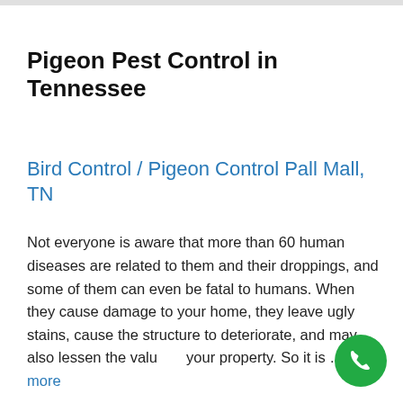Pigeon Pest Control in Tennessee
Bird Control / Pigeon Control Pall Mall, TN
Not everyone is aware that more than 60 human diseases are related to them and their droppings, and some of them can even be fatal to humans. When they cause damage to your home, they leave ugly stains, cause the structure to deteriorate, and may also lessen the value of your property. So it is … Read more
[Figure (illustration): Green circular phone call button with white telephone handset icon, positioned at bottom right corner]